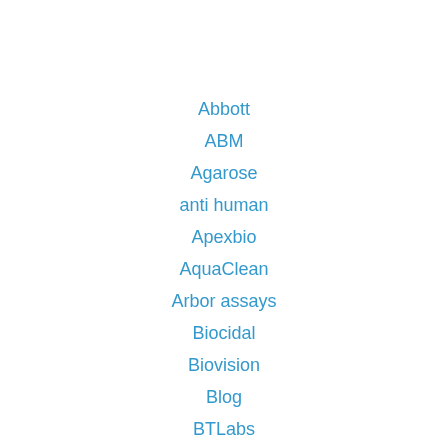Abbott
ABM
Agarose
anti human
Apexbio
AquaClean
Arbor assays
Biocidal
Biovision
Blog
BTLabs
Caisson
cDNA
chondrex
Cultrex
Cusao